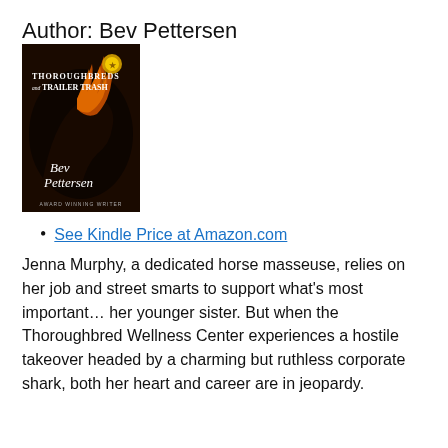Author: Bev Pettersen
[Figure (illustration): Book cover of 'Thoroughbreds and Trailer Trash' by Bev Pettersen. Dark cover with horse imagery and author name. Text reads 'Thoroughbreds and Trailer Trash', 'Bev Pettersen', 'Award Winning Writer'.]
See Kindle Price at Amazon.com
Jenna Murphy, a dedicated horse masseuse, relies on her job and street smarts to support what's most important… her younger sister. But when the Thoroughbred Wellness Center experiences a hostile takeover headed by a charming but ruthless corporate shark, both her heart and career are in jeopardy.